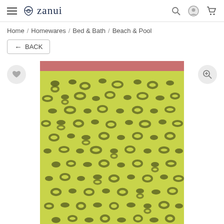zanui
Home / Homewares / Bed & Bath / Beach & Pool
← BACK
[Figure (photo): Leopard print beach towel with yellow-green background and dark olive print, featuring a coral/pink stripe at top. Product displayed upright on white background.]